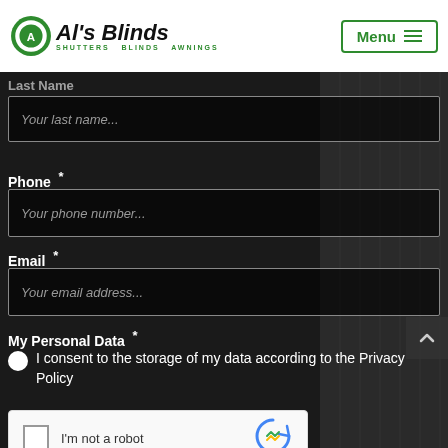[Figure (logo): Al's Blinds logo with green circular emblem and text 'Al's Blinds SHUTTERS BLINDS AWNINGS']
Menu
Last Name
Your last name...
Phone *
Your phone number...
Email *
Your email address...
My Personal Data *
I consent to the storage of my data according to the Privacy Policy
[Figure (screenshot): reCAPTCHA widget with checkbox and 'I'm not a robot' text with Google reCAPTCHA logo]